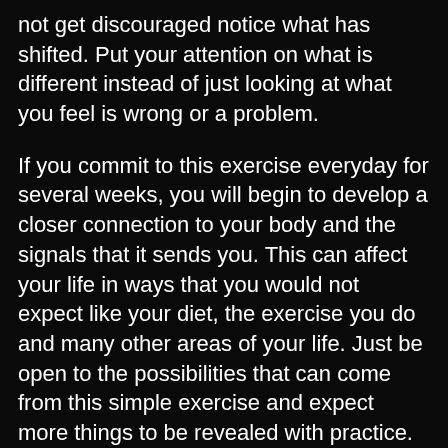not get discouraged notice what has shifted. Put your attention on what is different instead of just looking at what you feel is wrong or a problem.
If you commit to this exercise everyday for several weeks, you will begin to develop a closer connection to your body and the signals that it sends you. This can affect your life in ways that you would not expect like your diet, the exercise you do and many other areas of your life. Just be open to the possibilities that can come from this simple exercise and expect more things to be revealed with practice.
If you like this post please help your friends by sharing it. What’s on your mind? I am always open to questions and comments or for a healthy and supportive discussion about these topics.